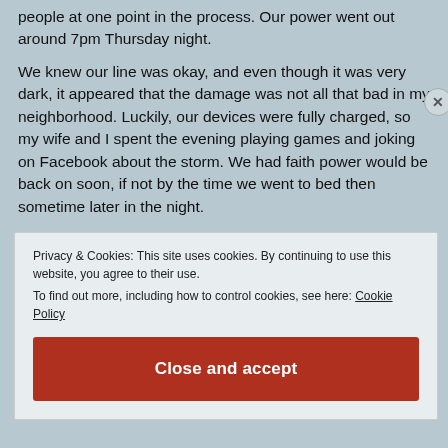people at one point in the process. Our power went out around 7pm Thursday night.
We knew our line was okay, and even though it was very dark, it appeared that the damage was not all that bad in my neighborhood. Luckily, our devices were fully charged, so my wife and I spent the evening playing games and joking on Facebook about the storm. We had faith power would be back on soon, if not by the time we went to bed then sometime later in the night.
Privacy & Cookies: This site uses cookies. By continuing to use this website, you agree to their use.
To find out more, including how to control cookies, see here: Cookie Policy
Close and accept